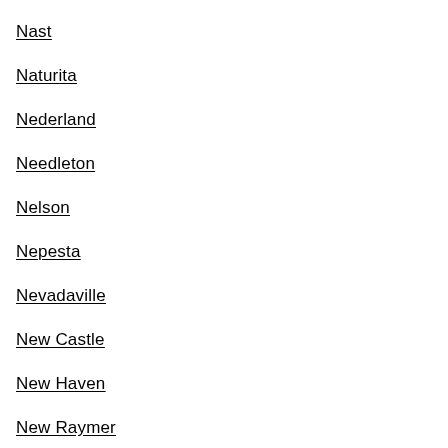Nast
Naturita
Nederland
Needleton
Nelson
Nepesta
Nevadaville
New Castle
New Haven
New Raymer